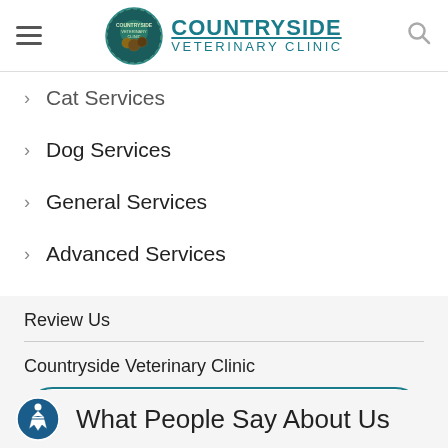COUNTRYSIDE VETERINARY CLINIC
Cat Services
Dog Services
General Services
Advanced Services
Review Us
Countryside Veterinary Clinic
REVIEW US!
What People Say About Us